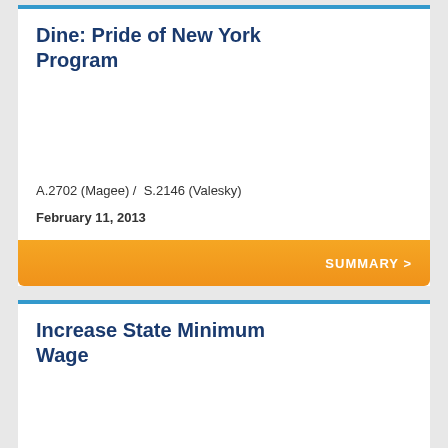Dine: Pride of New York Program
A.2702 (Magee) /  S.2146 (Valesky)

February 11, 2013
SUMMARY >
Increase State Minimum Wage
A.38-A (Wright)